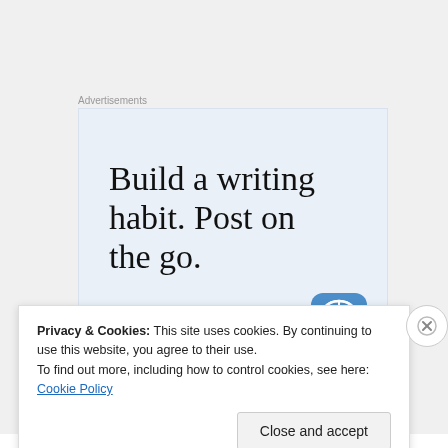Advertisements
[Figure (illustration): WordPress advertisement banner with light blue background. Text reads 'Build a writing habit. Post on the go.' with a 'GET THE APP' link and WordPress circular logo icon.]
Privacy & Cookies: This site uses cookies. By continuing to use this website, you agree to their use.
To find out more, including how to control cookies, see here: Cookie Policy
Close and accept